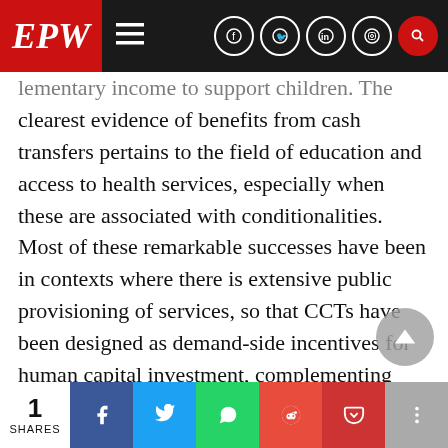EPW
...lementary income to support children. The clearest evidence of benefits from cash transfers pertains to the field of education and access to health services, especially when these are associated with conditionalities. Most of these remarkable successes have been in contexts where there is extensive public provisioning of services, so that CCTs have been designed as demand-side incentives for human capital investment, complementing supply-side, public provisioning of services. Brazil’s Bolsa Familia, for instance, was explicitly linked to a rights-based Zero Hunger Programme, which included expansion of sch...
1 SHARES | Facebook | Twitter | WhatsApp | Reddit | Pocket | More